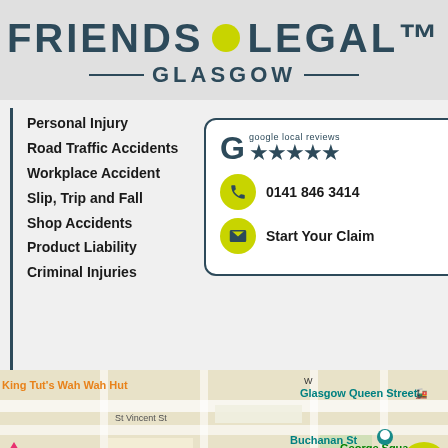[Figure (logo): Friends Legal Glasgow logo with yellow dot and Glasgow subtitle with decorative bars]
Personal Injury
Road Traffic Accidents
Workplace Accident
Slip, Trip and Fall
Shop Accidents
Product Liability
Criminal Injuries
[Figure (infographic): Google 5-star local reviews badge, phone number 0141 846 3414, and Start Your Claim email button]
[Figure (map): Google Maps screenshot showing Glasgow city centre with King Tut's Wah Wah Hut, Glasgow Queen Street station, Buchanan St, ibis Styles Glasgow Central, George Square, Gallery of Modern Art]